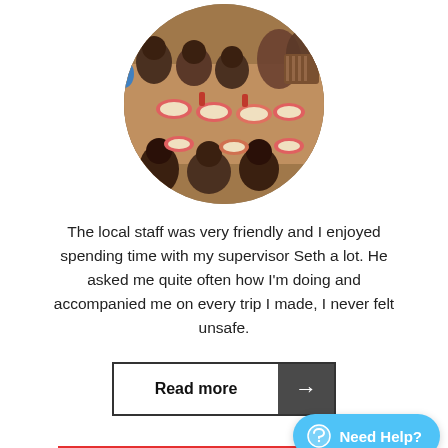[Figure (photo): Circular photo of children sitting at a long table eating food from bowls, viewed from above at an angle. The children are African, seated on both sides of the table with pink/orange bowls of food.]
The local staff was very friendly and I enjoyed spending time with my supervisor Seth a lot. He asked me quite often how I'm doing and accompanied me on every trip I made, I never felt unsafe.
[Figure (other): Read more button with arrow: a rectangular button with 'Read more' text on the left and a dark grey box with a right-arrow on the right.]
WHAT TO EXPECT